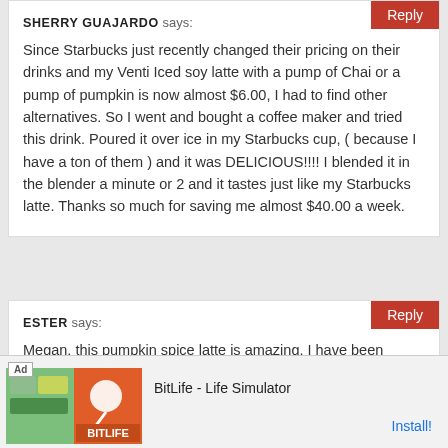Reply
SHERRY GUAJARDO says:
Since Starbucks just recently changed their pricing on their drinks and my Venti Iced soy latte with a pump of Chai or a pump of pumpkin is now almost $6.00, I had to find other alternatives. So I went and bought a coffee maker and tried this drink. Poured it over ice in my Starbucks cup, ( because I have a ton of them ) and it was DELICIOUS!!!! I blended it in the blender a minute or 2 and it tastes just like my Starbucks latte. Thanks so much for saving me almost $40.00 a week.
Reply
ESTER says:
Megan, this pumpkin spice latte is amazing. I have been
[Figure (screenshot): Ad banner for BitLife - Life Simulator app with colorful game imagery and Install! button]